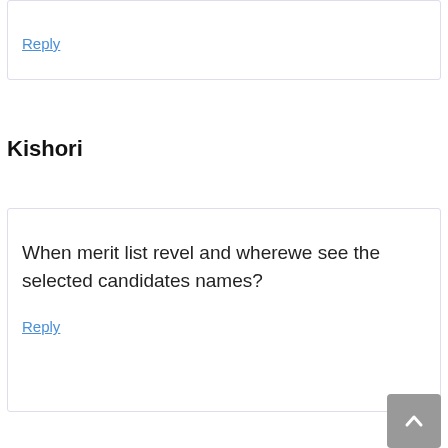Reply
Kishori
When merit list revel and wherewe see the selected candidates names?
Reply